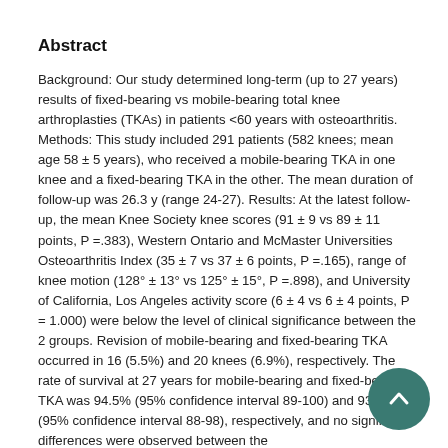Abstract
Background: Our study determined long-term (up to 27 years) results of fixed-bearing vs mobile-bearing total knee arthroplasties (TKAs) in patients <60 years with osteoarthritis. Methods: This study included 291 patients (582 knees; mean age 58 ± 5 years), who received a mobile-bearing TKA in one knee and a fixed-bearing TKA in the other. The mean duration of follow-up was 26.3 y (range 24-27). Results: At the latest follow-up, the mean Knee Society knee scores (91 ± 9 vs 89 ± 11 points, P =.383), Western Ontario and McMaster Universities Osteoarthritis Index (35 ± 7 vs 37 ± 6 points, P =.165), range of knee motion (128° ± 13° vs 125° ± 15°, P =.898), and University of California, Los Angeles activity score (6 ± 4 vs 6 ± 4 points, P = 1.000) were below the level of clinical significance between the 2 groups. Revision of mobile-bearing and fixed-bearing TKA occurred in 16 (5.5%) and 20 knees (6.9%), respectively. The rate of survival at 27 years for mobile-bearing and fixed-bearing TKA was 94.5% (95% confidence interval 89-100) and 93.1% (95% confidence interval 88-98), respectively, and no significant differences were observed between the